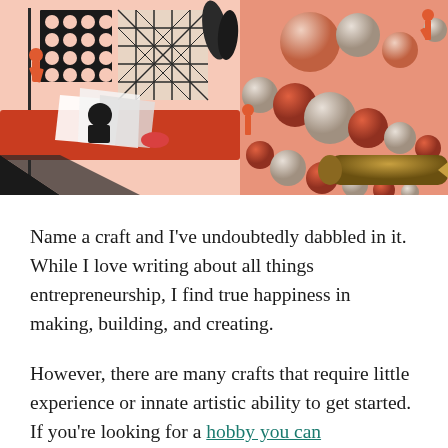[Figure (illustration): Colorful illustrated scene showing crafting activities: on the left, stylized figures with geometric patterned canvases and a figure working at a red desk with papers. On the right, a large salmon/pink background with 3D-rendered spheres and beads arranged in a chain, with small orange figures interacting with them, and a large olive/dark yellow cylindrical pencil.]
Name a craft and I've undoubtedly dabbled in it. While I love writing about all things entrepreneurship, I find true happiness in making, building, and creating.
However, there are many crafts that require little experience or innate artistic ability to get started. If you're looking for a hobby you can